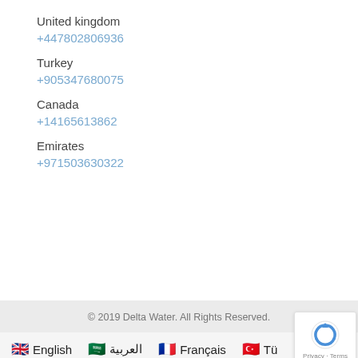United kingdom
+447802806936
Turkey
+905347680075
Canada
+14165613862
Emirates
+971503630322
© 2019 Delta Water. All Rights Reserved.
🇬🇧 English   🇸🇦 العربية   🇫🇷 Français   🇹🇷 Tü